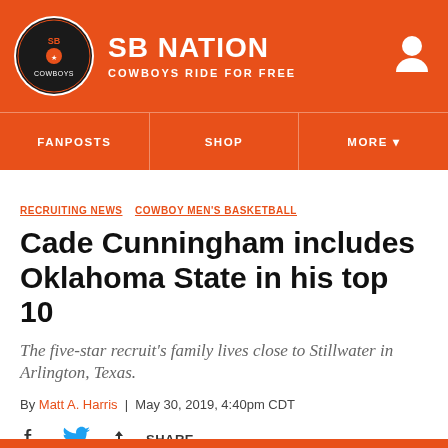SB NATION | COWBOYS RIDE FOR FREE
FANPOSTS | SHOP | MORE
RECRUITING NEWS  COWBOY MEN'S BASKETBALL
Cade Cunningham includes Oklahoma State in his top 10
The five-star recruit's family lives close to Stillwater in Arlington, Texas.
By Matt A. Harris | May 30, 2019, 4:40pm CDT